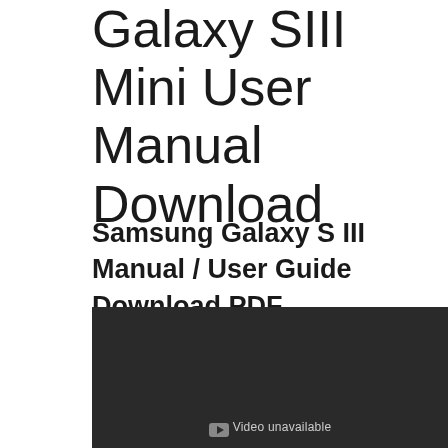Galaxy SIII Mini User Manual Download
Samsung Galaxy S III Manual / User Guide Download PDF
[Figure (screenshot): Dark video player embed showing 'Video unavailable' message with YouTube icon]